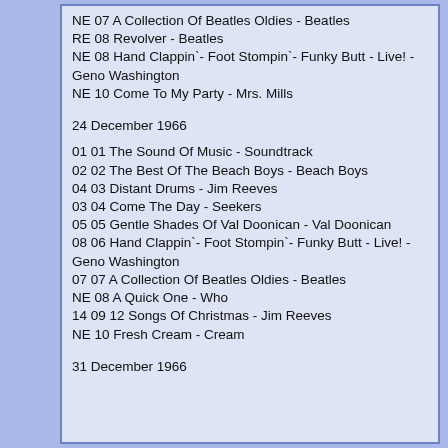NE 07 A Collection Of Beatles Oldies - Beatles
RE 08 Revolver - Beatles
NE 08 Hand Clappin`- Foot Stompin`- Funky Butt - Live! - Geno Washington
NE 10 Come To My Party - Mrs. Mills
24 December 1966
01 01 The Sound Of Music - Soundtrack
02 02 The Best Of The Beach Boys - Beach Boys
04 03 Distant Drums - Jim Reeves
03 04 Come The Day - Seekers
05 05 Gentle Shades Of Val Doonican - Val Doonican
08 06 Hand Clappin`- Foot Stompin`- Funky Butt - Live! - Geno Washington
07 07 A Collection Of Beatles Oldies - Beatles
NE 08 A Quick One - Who
14 09 12 Songs Of Christmas - Jim Reeves
NE 10 Fresh Cream - Cream
31 December 1966